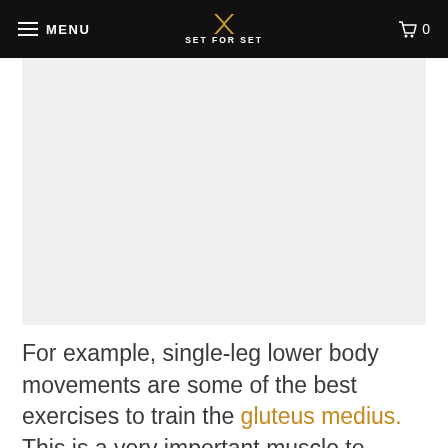MENU | SET FOR SET | 0
[Figure (photo): Large light gray image placeholder area below the navigation bar]
For example, single-leg lower body movements are some of the best exercises to train the gluteus medius. This is a very important muscle to strengthen to prevent lower leg injuries from sagging hips. Exercises